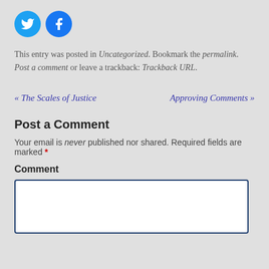[Figure (logo): Two circular social media icons: Twitter (blue bird) and Facebook (blue f)]
This entry was posted in Uncategorized. Bookmark the permalink. Post a comment or leave a trackback: Trackback URL.
« The Scales of Justice    Approving Comments »
Post a Comment
Your email is never published nor shared. Required fields are marked *
Comment